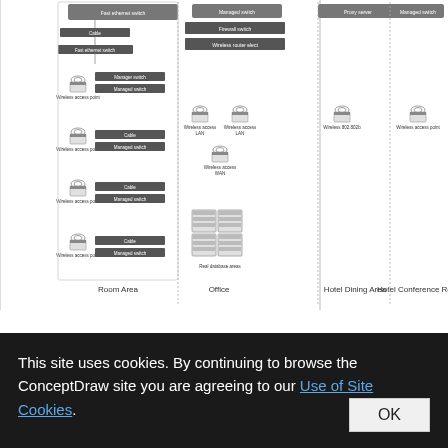[Figure (network-graph): Hotel Network Topology Diagram showing four sections: Room Area, Office, Hotel Dining Area, and Hotel Conference Room. Each section contains wireless access points, switches, and network equipment connected in a topology layout. The diagram is divided into panels separated by vertical lines.]
Hotel Network Topology Diagram - The Computer and Networks solution from Computer and Networks area of ConceptDraw Solution Park provides examples, templates, and vector stencils
This site uses cookies. By continuing to browse the ConceptDraw site you are agreeing to our Use of Site Cookies.